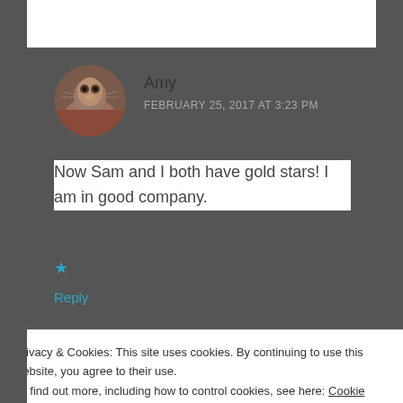Reply
Amy
FEBRUARY 25, 2017 AT 3:23 PM
[Figure (photo): Circular avatar photo of a small animal (likely a cat or dog) being held, with dark/brown tones]
Now Sam and I both have gold stars! I am in good company.
Liked by 1 person
Reply
Privacy & Cookies: This site uses cookies. By continuing to use this website, you agree to their use.
To find out more, including how to control cookies, see here: Cookie Policy
Close and accept